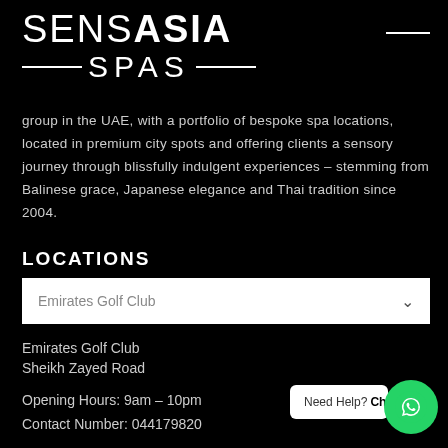SENSASIA SPAS
group in the UAE, with a portfolio of bespoke spa locations, located in premium city spots and offering clients a sensory journey through blissfully indulgent experiences – stemming from Balinese grace, Japanese elegance and Thai tradition since 2004.
LOCATIONS
Emirates Golf Club
Emirates Golf Club
Sheikh Zayed Road
Opening Hours: 9am – 10pm
Contact Number: 044179820
Need Help? Chat with us